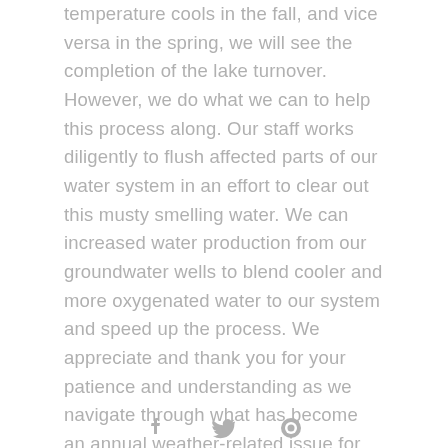temperature cools in the fall, and vice versa in the spring, we will see the completion of the lake turnover. However, we do what we can to help this process along. Our staff works diligently to flush affected parts of our water system in an effort to clear out this musty smelling water. We can increased water production from our groundwater wells to blend cooler and more oxygenated water to our system and speed up the process. We appreciate and thank you for your patience and understanding as we navigate through what has become an annual weather-related issue for our water system.
[Figure (other): Social media icons (Facebook, Twitter, and another platform) at the bottom of the page]